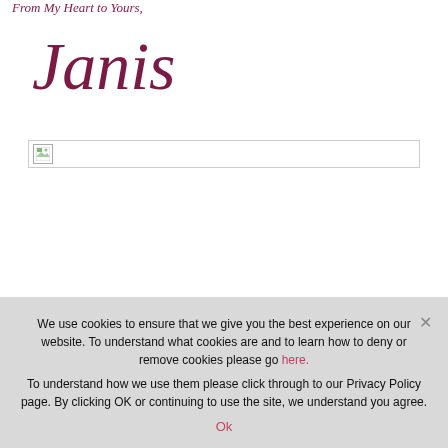From My Heart to Yours,
[Figure (illustration): Cursive script signature reading 'Janis' in dark maroon/purple color]
[Figure (photo): Broken/missing image placeholder with small image icon on left side]
We use cookies to ensure that we give you the best experience on our website. To understand what cookies are and to learn how to deny or remove cookies please go here. To understand how we use them please click through to our Privacy Policy page. By clicking OK or continuing to use the site, we understand you agree. Ok